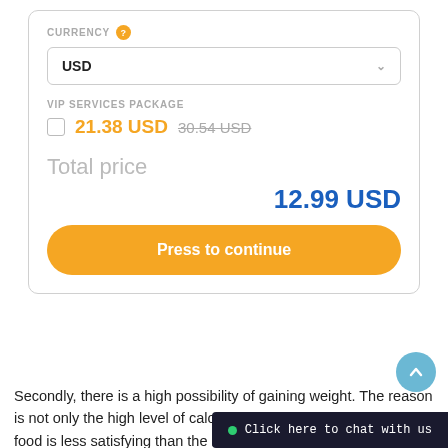CURRENCY
USD
VIP SERVICES PACKAGE
21.38 USD  30.54 USD
Total price
12.99 USD
Press to continue
Secondly, there is a high possibility of gaining weight. The reason is not only the high level of calories, but also the fact that fast food is less satisfying than the healthy food. That is why people want to eat more. If students eat fast food every day at school, they will gain weight. If they gain weight, they will barely do physical exercises and attend sport classes. If they do not do any
Click here to chat with us